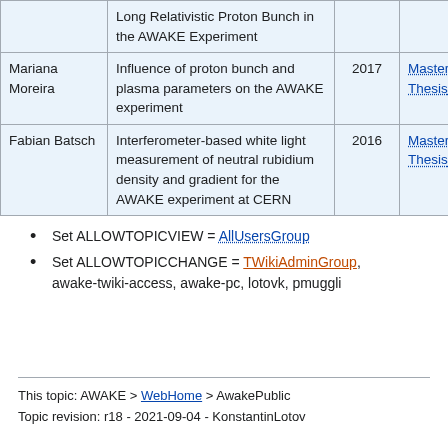|  |  |  |  |
| --- | --- | --- | --- |
|  | Long Relativistic Proton Bunch in the AWAKE Experiment |  |  |
| Mariana Moreira | Influence of proton bunch and plasma parameters on the AWAKE experiment | 2017 | Master's Thesis |
| Fabian Batsch | Interferometer-based white light measurement of neutral rubidium density and gradient for the AWAKE experiment at CERN | 2016 | Master's Thesis |
Set ALLOWTOPICVIEW = AllUsersGroup
Set ALLOWTOPICCHANGE = TWikiAdminGroup, awake-twiki-access, awake-pc, lotovk, pmuggli
This topic: AWAKE > WebHome > AwakePublic
Topic revision: r18 - 2021-09-04 - KonstantinLotov